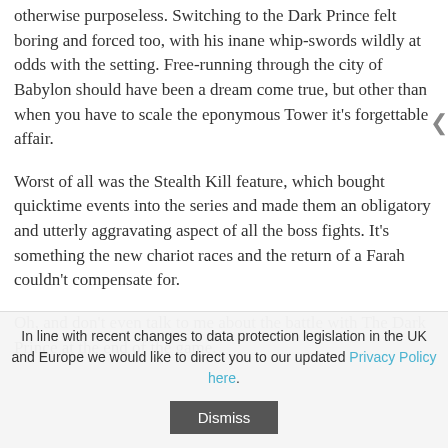otherwise purposeless. Switching to the Dark Prince felt boring and forced too, with his inane whip-swords wildly at odds with the setting. Free-running through the city of Babylon should have been a dream come true, but other than when you have to scale the eponymous Tower it's forgettable affair.
Worst of all was the Stealth Kill feature, which bought quicktime events into the series and made them an obligatory and utterly aggravating aspect of all the boss fights. It's something the new chariot races and the return of a Farah couldn't compensate for.
Oh, and don't even talk to me about the battle with The Dark Prince at the end of the game.
In line with recent changes to data protection legislation in the UK and Europe we would like to direct you to our updated Privacy Policy here.